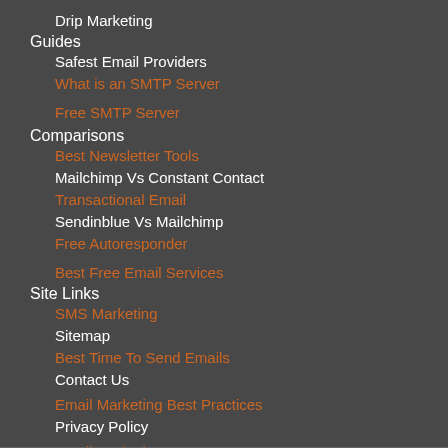Drip Marketing
Guides
Safest Email Providers
What is an SMTP Server
Free SMTP Server
Comparisons
Best Newsletter Tools
Mailchimp Vs Constant Contact
Transactional Email
Sendinblue Vs Mailchimp
Free Autoresponder
Best Free Email Services
Site Links
SMS Marketing
Sitemap
Best Time To Send Emails
Contact Us
Email Marketing Best Practices
Privacy Policy
Email Marketing Strategy
Disclaimer
Drip Marketing
Safest Email Providers